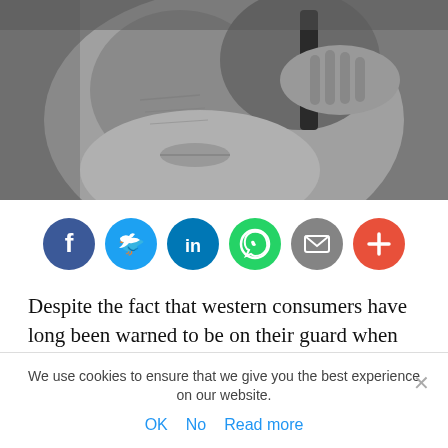[Figure (photo): Black and white close-up photo of an elderly person holding a mobile phone to their ear]
[Figure (infographic): Row of social media share buttons: Facebook (blue), Twitter (light blue), LinkedIn (blue), WhatsApp (green), Email (grey), More/Plus (orange-red)]
Despite the fact that western consumers have long been warned to be on their guard when divulging personal information over the phone, vishing fraud remains a major money spinner for organised criminal networks.
We use cookies to ensure that we give you the best experience on our website.
OK  No  Read more